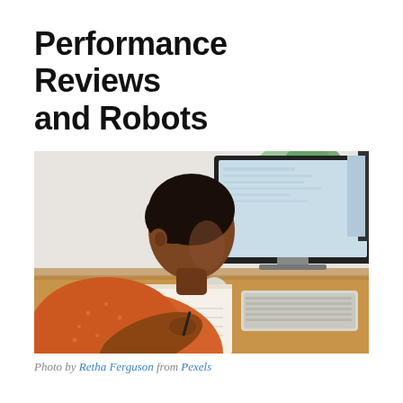Performance Reviews and Robots
[Figure (photo): A Black woman with her hair up, wearing an orange polka-dot blouse, seen from behind/side, writing in a notebook at a wooden desk with an Apple iMac computer monitor in front of her and a plant in the background.]
Photo by Retha Ferguson from Pexels